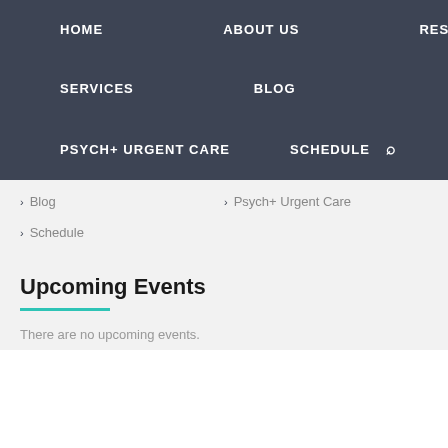HOME   ABOUT US   RESOURCES
SERVICES   BLOG
PSYCH+ URGENT CARE   SCHEDULE
Blog
Psych+ Urgent Care
Schedule
Upcoming Events
There are no upcoming events.